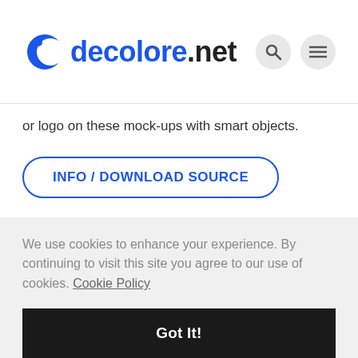decolore.net
or logo on these mock-ups with smart objects.
INFO / DOWNLOAD SOURCE
Milk Juice Mockup
We use cookies to enhance your experience. By continuing to visit this site you agree to our use of cookies. Cookie Policy
Got It!